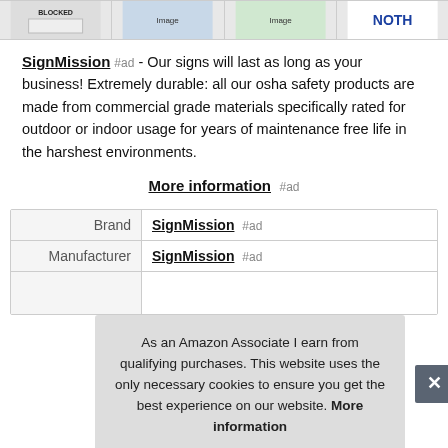[Figure (other): Row of four product thumbnail images in a strip]
SignMission #ad - Our signs will last as long as your business! Extremely durable: all our osha safety products are made from commercial grade materials specifically rated for outdoor or indoor usage for years of maintenance free life in the harshest environments.
More information #ad
|  |  |
| --- | --- |
| Brand | SignMission #ad |
| Manufacturer | SignMission #ad |
As an Amazon Associate I earn from qualifying purchases. This website uses the only necessary cookies to ensure you get the best experience on our website. More information